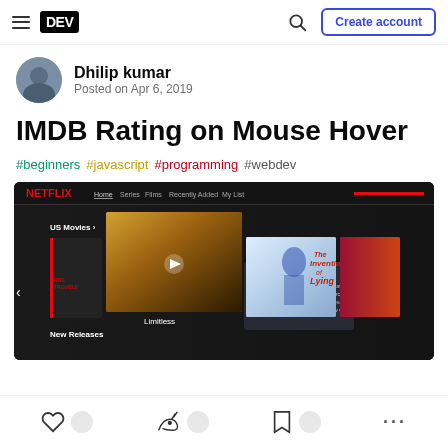DEV — Create account
Dhilip kumar
Posted on Apr 6, 2019
IMDB Rating on Mouse Hover
#beginners #javascript #programming #webdev
[Figure (screenshot): Screenshot of a Netflix-like movie browsing UI showing movies including Limitless and The Invention of Lying, with a hover card for Limitless.]
Like, unicorn, bookmark, and more action buttons